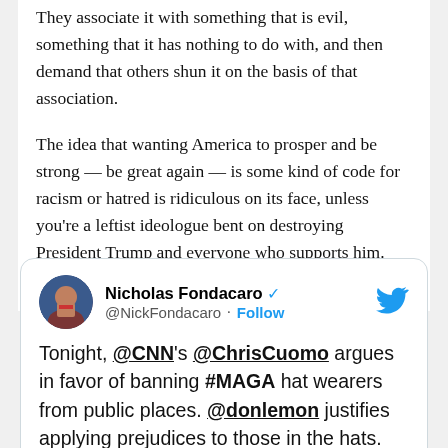They associate it with something that is evil, something that it has nothing to do with, and then demand that others shun it on the basis of that association.

The idea that wanting America to prosper and be strong — be great again — is some kind of code for racism or hatred is ridiculous on its face, unless you're a leftist ideologue bent on destroying President Trump and everyone who supports him. And that's what Lemon and Cuomo are.
[Figure (screenshot): Embedded tweet from @NickFondacaro (Nicholas Fondacaro, verified) reading: 'Tonight, @CNN's @ChrisCuomo argues in favor of banning #MAGA hat wearers from public places. @donlemon justifies applying prejudices to those in the hats.']